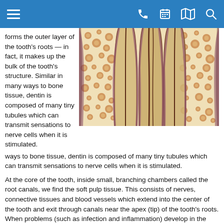Navigation bar with menu, phone, calendar, map, and search icons
forms the outer layer of the tooth's roots — in fact, it makes up the bulk of the tooth's structure. Similar in many ways to bone tissue, dentin is composed of many tiny tubules which can transmit sensations to nerve cells when it is stimulated.
[Figure (illustration): Cross-sectional anatomical illustration of tooth roots showing dentin structure with tubules, root canals, and surrounding tissue.]
At the core of the tooth, inside small, branching chambers called the root canals, we find the soft pulp tissue. This consists of nerves, connective tissues and blood vessels which extend into the center of the tooth and exit through canals near the apex (tip) of the tooth's roots. When problems (such as infection and inflammation) develop in the pulp tissue, your first indication of trouble may be tooth sensitivity — or intense pain. In time, as the nerves die, the pain may go away… but the problem won't. In fact, if left untreated, the end result may be tooth loss.